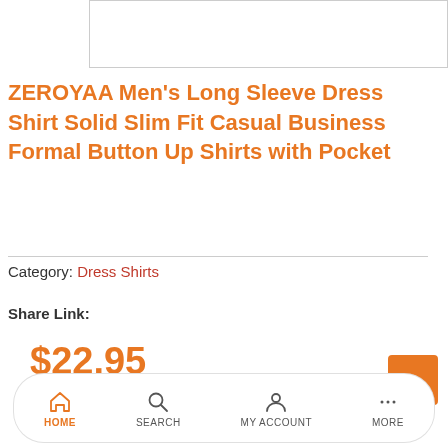[Figure (photo): Partial product image at top of page]
ZEROYAA Men's Long Sleeve Dress Shirt Solid Slim Fit Casual Business Formal Button Up Shirts with Pocket
Category: Dress Shirts
Share Link:
$22.95
[Figure (screenshot): Bottom navigation bar with Home, Search, My Account, More icons]